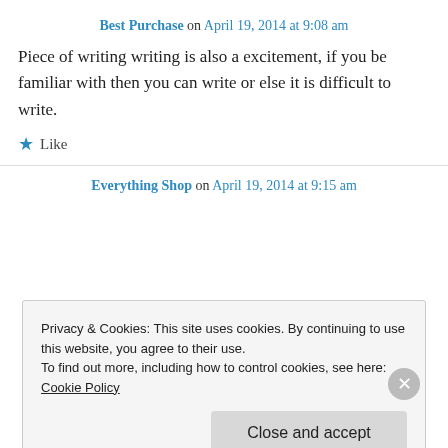Best Purchase on April 19, 2014 at 9:08 am
Piece of writing writing is also a excitement, if you be familiar with then you can write or else it is difficult to write.
★ Like
Everything Shop on April 19, 2014 at 9:15 am
Privacy & Cookies: This site uses cookies. By continuing to use this website, you agree to their use.
To find out more, including how to control cookies, see here: Cookie Policy
Close and accept